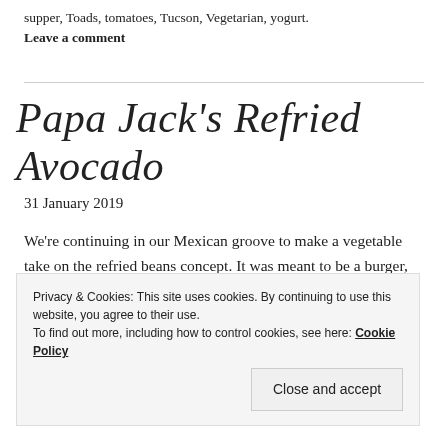supper, Toads, tomatoes, Tucson, Vegetarian, yogurt.
Leave a comment
Papa Jack's Refried Avocado
31 January 2019
We're continuing in our Mexican groove to make a vegetable take on the refried beans concept. It was meant to be a burger, but it didn't hold together too well, so here is our refried avocado.
Privacy & Cookies: This site uses cookies. By continuing to use this website, you agree to their use.
To find out more, including how to control cookies, see here: Cookie Policy
Close and accept